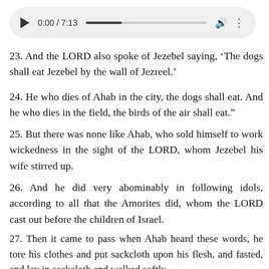[Figure (screenshot): Audio player widget showing play button, timestamp 0:00 / 7:13, progress bar, volume icon, and options icon on a light gray rounded rectangle background.]
23. And the LORD also spoke of Jezebel saying, 'The dogs shall eat Jezebel by the wall of Jezreel.'
24. He who dies of Ahab in the city, the dogs shall eat. And he who dies in the field, the birds of the air shall eat."
25. But there was none like Ahab, who sold himself to work wickedness in the sight of the LORD, whom Jezebel his wife stirred up.
26. And he did very abominably in following idols, according to all that the Amorites did, whom the LORD cast out before the children of Israel.
27. Then it came to pass when Ahab heard these words, he tore his clothes and put sackcloth upon his flesh, and fasted, and lay in sackcloth and walked softly.
28. And the word of the LORD came to Elijah the Tishbite, saying,
29. “Do you see how Ahab humbles himself before Me? Because he humbles himself before Me, I will not bring